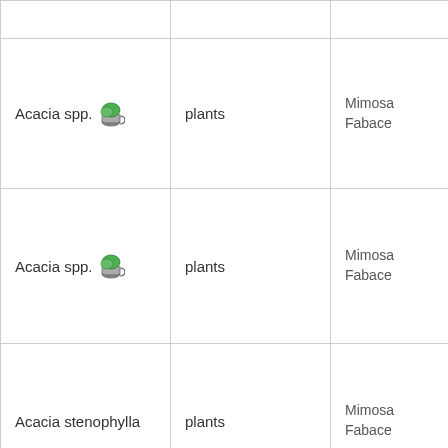| Species | Type | Family |
| --- | --- | --- |
| Acacia spp. [icon] | plants | Mimosa / Fabace... |
| Acacia spp. [icon] | plants | Mimosa / Fabace... |
| Acacia stenophylla | plants | Mimosa / Fabace... |
|  |  |  |